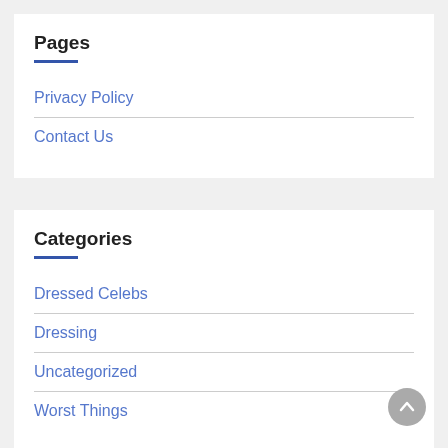Pages
Privacy Policy
Contact Us
Categories
Dressed Celebs
Dressing
Uncategorized
Worst Things